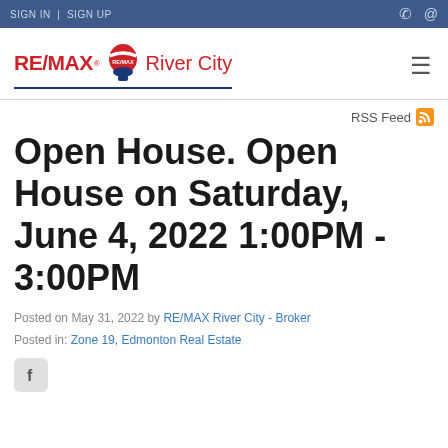SIGN IN | SIGN UP
[Figure (logo): RE/MAX River City logo with balloon icon]
RSS Feed
Open House. Open House on Saturday, June 4, 2022 1:00PM - 3:00PM
Posted on May 31, 2022 by RE/MAX River City - Broker
Posted in: Zone 19, Edmonton Real Estate
[Figure (logo): Facebook share icon button]